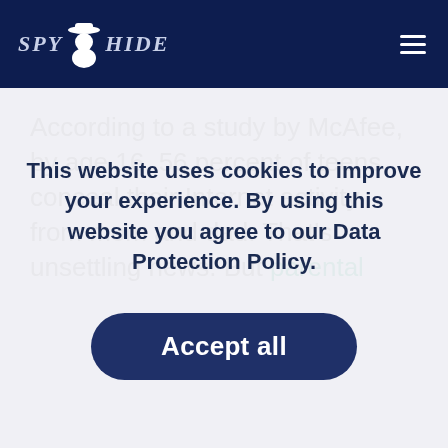[Figure (logo): SpyHide logo with dark navy header background, spy figure icon between SPY and HIDE text in italic serif font]
According to a study by McAfee, by age 16, 56 percent of teens conceal their Internet activity from mom and dad. That’s unsettling news. But parental
This website uses cookies to improve your experience. By using this website you agree to our Data Protection Policy.
Accept all